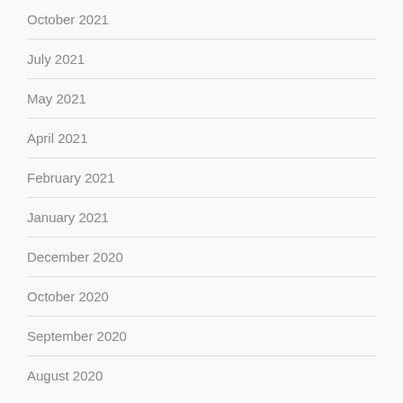October 2021
July 2021
May 2021
April 2021
February 2021
January 2021
December 2020
October 2020
September 2020
August 2020